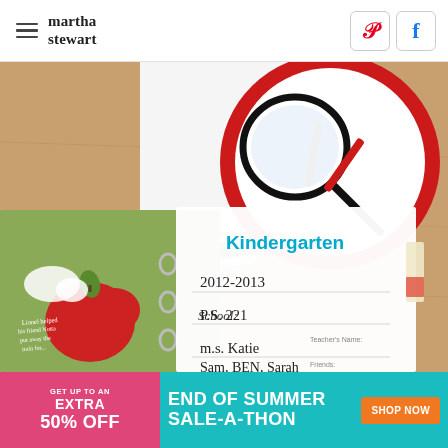martha stewart
[Figure (photo): Overhead view of a school desk with a binder open to a Kindergarten page showing handwritten text '2012-2013', 'P.S. 221', 'M.S. Katie', 'Sam, Ben, Sarah', a magnifying glass, pen, car toy, red and green notebooks, and a child's drawing with an apple and handwritten note.]
[Figure (infographic): Advertisement banner: GET UP TO AN EXTRA 50% OFF | END OF SUMMER SALE-A-THON | SHOP NOW button]